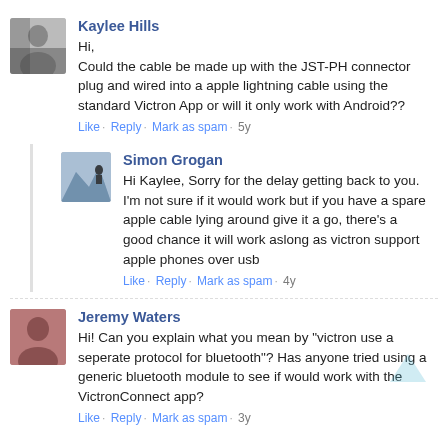Kaylee Hills
Hi,
Could the cable be made up with the JST-PH connector plug and wired into a apple lightning cable using the standard Victron App or will it only work with Android??
Like · Reply · Mark as spam · 5y
Simon Grogan
Hi Kaylee, Sorry for the delay getting back to you. I'm not sure if it would work but if you have a spare apple cable lying around give it a go, there's a good chance it will work aslong as victron support apple phones over usb
Like · Reply · Mark as spam · 4y
Jeremy Waters
Hi! Can you explain what you mean by "victron use a seperate protocol for bluetooth"? Has anyone tried using a generic bluetooth module to see if would work with the VictronConnect app?
Like · Reply · Mark as spam · 3y